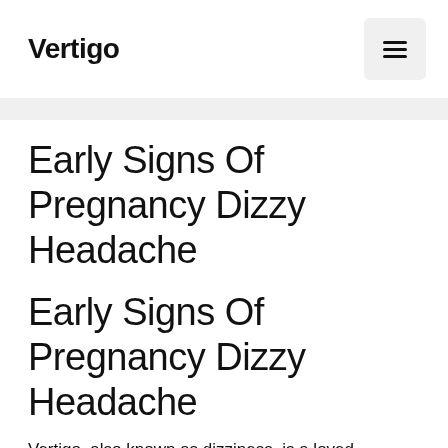Vertigo
Early Signs Of Pregnancy Dizzy Headache
Early Signs Of Pregnancy Dizzy Headache
Vertigo, also known as dizziness, is a loved